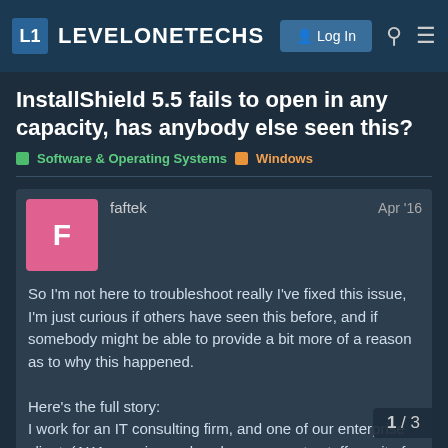L1 LEVELONETECHS  Log In
InstallShield 5.5 fails to open in any capacity, has anybody else seen this?
Software & Operating Systems  Windows
faftek  Apr '16
So I'm not here to troubleshoot really I've fixed this issue, I'm just curious if others have seen this before, and if somebody might be able to provide a bit more of a reason as to why this happened.

Here's the full story:
I work for an IT consulting firm, and one of our enterprise clients(AKA massive and we keep separate staff on-site for them), and I was called from the main office because software wasn't installing and it was assu imaging issue. I tested the image, as wel
1 / 3